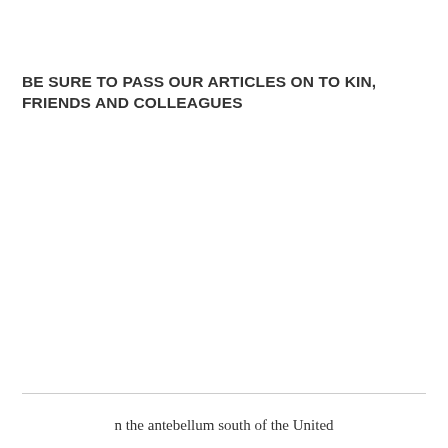BE SURE TO PASS OUR ARTICLES ON TO KIN, FRIENDS AND COLLEAGUES
n the antebellum south of the United